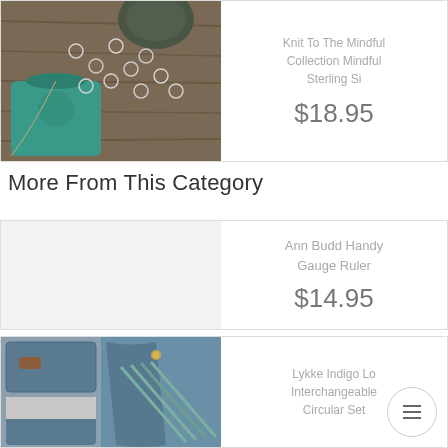[Figure (photo): Knitting accessories including stitch markers and yarn on a wooden surface with a teal pouch]
Knit To The Mindful Collection Mindful Sterling Si
$18.95
More From This Category
[Figure (photo): Empty product image area for Ann Budd Handy Gauge Ruler]
Ann Budd Handy Gauge Ruler
$14.95
[Figure (photo): Lykke Indigo blue waxed canvas roll case with interchangeable circular knitting needles]
Lykke Indigo Lo Interchangeable Circular Set